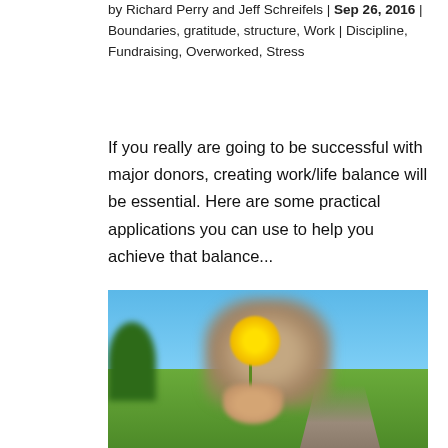by Richard Perry and Jeff Schreifels | Sep 26, 2016 | Boundaries, gratitude, structure, Work | Discipline, Fundraising, Overworked, Stress
If you really are going to be successful with major donors, creating work/life balance will be essential. Here are some practical applications you can use to help you achieve that balance...
[Figure (photo): A person holding up a yellow dandelion flower toward the camera against a blue sky background with green trees and a path visible behind them.]